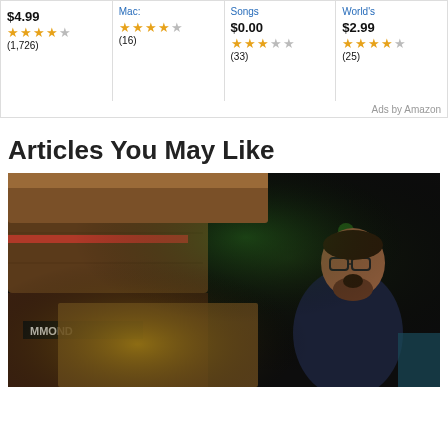[Figure (other): Amazon product ad cards showing 4 products with prices and star ratings: $4.99 (1,726 reviews, ~4 stars), Mac: (16 reviews, ~4 stars), Songs $0.00 (33 reviews, ~3 stars), World's $2.99 (25 reviews, ~4 stars)]
Ads by Amazon
Articles You May Like
[Figure (photo): A man with glasses and a beard singing passionately while playing a Hammond organ on a dark stage with green and red lighting.]